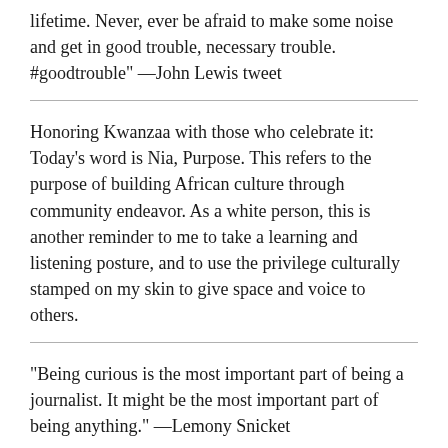lifetime. Never, ever be afraid to make some noise and get in good trouble, necessary trouble. #goodtrouble" —John Lewis tweet
Honoring Kwanzaa with those who celebrate it: Today's word is Nia, Purpose. This refers to the purpose of building African culture through community endeavor. As a white person, this is another reminder to me to take a learning and listening posture, and to use the privilege culturally stamped on my skin to give space and voice to others.
“Being curious is the most important part of being a journalist. It might be the most important part of being anything.” —Lemony Snicket